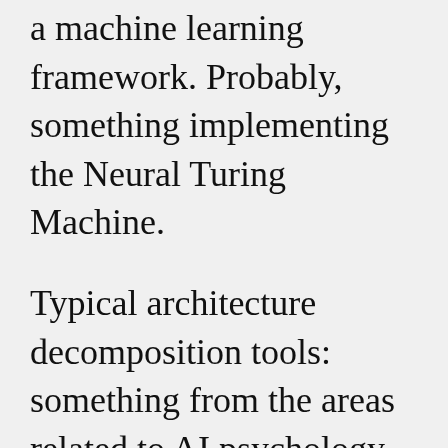a machine learning framework. Probably, something implementing the Neural Turing Machine.
Typical architecture decomposition tools: something from the areas related to AI psychology, AI parenting, AI training, education, self-control, self-esteem etc.